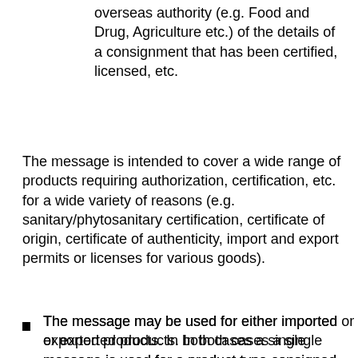overseas authority (e.g. Food and Drug, Agriculture etc.) of the details of a consignment that has been certified, licensed, etc.
The message is intended to cover a wide range of products requiring authorization, certification, etc. for a wide variety of reasons (e.g. sanitary/phytosanitary certification, certificate of origin, certificate of authenticity, import and export permits or licenses for various goods).
The message may be used for either imported or exported products. In both cases a single message is used for a product type consigned from a single consignor to a single consignee.
A certificate may cover several product items. A certificate should however be limited to product items of the same type or category.
All products covered by a certificate are transported together on the same transport vehicle or vehicle set at the same time. Transport can however occur